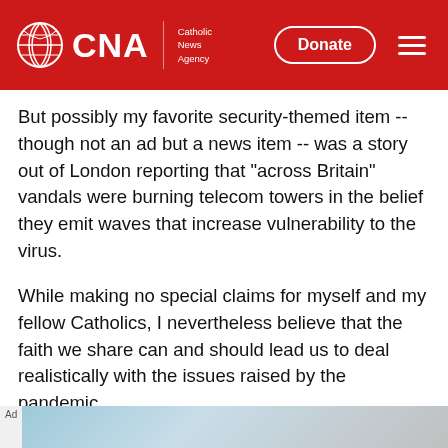CNA | Catholic News Agency
But possibly my favorite security-themed item -- though not an ad but a news item -- was a story out of London reporting that "across Britain" vandals were burning telecom towers in the belief they emit waves that increase vulnerability to the virus.
While making no special claims for myself and my fellow Catholics, I nevertheless believe that the faith we share can and should lead us to deal realistically with the issues raised by the pandemic.
[Figure (other): Ad banner at the bottom of the page with light blue tones]